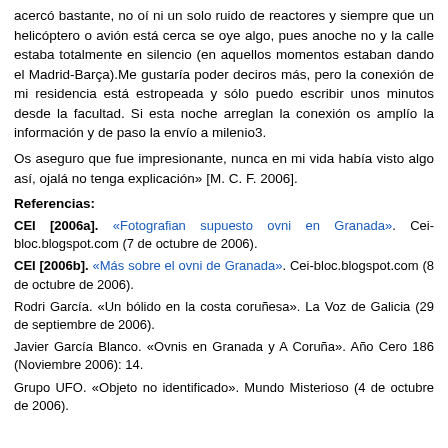acercó bastante, no oí ni un solo ruido de reactores y siempre que un helicóptero o avión está cerca se oye algo, pues anoche no y la calle estaba totalmente en silencio (en aquellos momentos estaban dando el Madrid-Barça).Me gustaría poder deciros más, pero la conexión de mi residencia está estropeada y sólo puedo escribir unos minutos desde la facultad. Si esta noche arreglan la conexión os amplío la información y de paso la envío a milenio3. Os aseguro que fue impresionante, nunca en mi vida había visto algo así, ojalá no tenga explicación» [M. C. F. 2006].
Referencias:
CEI [2006a]. «Fotografian supuesto ovni en Granada». Cei-bloc.blogspot.com (7 de octubre de 2006).
CEI [2006b]. «Más sobre el ovni de Granada». Cei-bloc.blogspot.com (8 de octubre de 2006).
Rodri García. «Un bólido en la costa coruñesa». La Voz de Galicia (29 de septiembre de 2006).
Javier García Blanco. «Ovnis en Granada y A Coruña». Año Cero 186 (Noviembre 2006): 14.
Grupo UFO. «Objeto no identificado». Mundo Misterioso (4 de octubre de 2006).